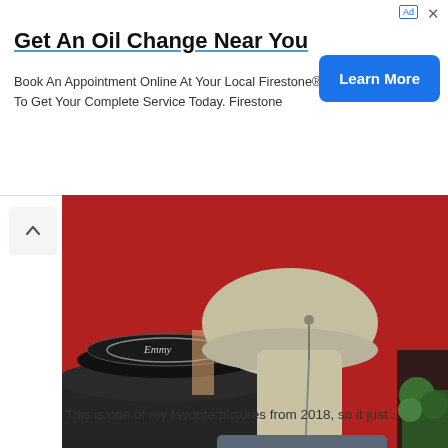[Figure (screenshot): Advertisement banner for Firestone oil change service with headline, body text, and blue Learn More button]
Get An Oil Change Near You
Book An Appointment Online At Your Local Firestone® To Get Your Complete Service Today. Firestone
[Figure (photo): Instagram photo of a person wearing a large khaki sun hat with neck flap, standing in front of a red carpet area with a circular black platform/display. Green plants visible on right.]
View more on Instagram
8,424 likes
cassidyhubbarth
This is one of my favorite pictures from 2018, so it just...